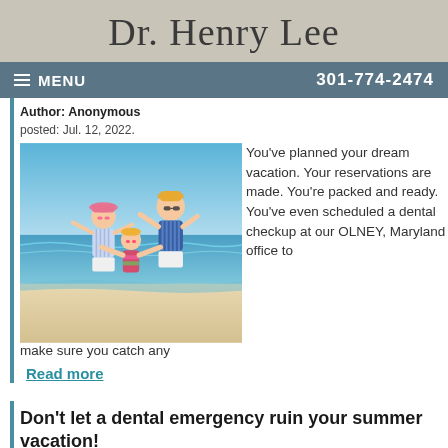Dr. Henry Lee
MENU   301-774-2474
Author: Anonymous
posted: Jul. 12, 2022.
[Figure (photo): Family of three at the beach, father holding child with arms outstretched, sunny day]
You've planned your dream vacation. Your reservations are made. You're packed and ready. You've even scheduled a dental checkup at our OLNEY, Maryland office to make sure you catch any
Read more
Don't let a dental emergency ruin your summer vacation!